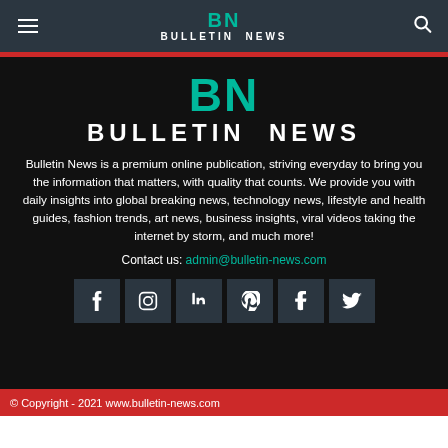BULLETIN NEWS
[Figure (logo): BN Bulletin News large logo]
BULLETIN NEWS
Bulletin News is a premium online publication, striving everyday to bring you the information that matters, with quality that counts. We provide you with daily insights into global breaking news, technology news, lifestyle and health guides, fashion trends, art news, business insights, viral videos taking the internet by storm, and much more!
Contact us: admin@bulletin-news.com
[Figure (infographic): Social media icons row: Facebook, Instagram, LinkedIn, Pinterest, Tumblr, Twitter]
© Copyright - 2021 www.bulletin-news.com